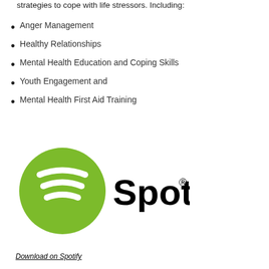strategies to cope with life stressors. Including:
Anger Management
Healthy Relationships
Mental Health Education and Coping Skills
Youth Engagement and
Mental Health First Aid Training
[Figure (logo): Spotify logo: green circle with white sound wave stripes and the word Spotify in bold black text with a registered trademark symbol]
Download on Spotify